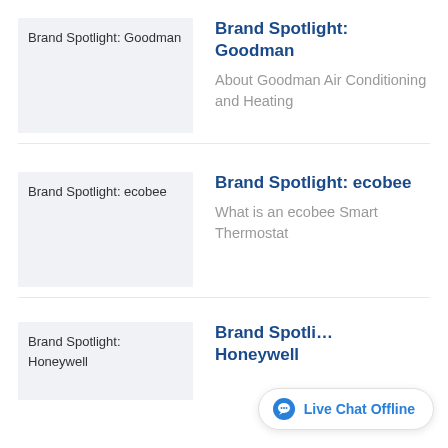[Figure (other): Placeholder image for Brand Spotlight: Goodman]
Brand Spotlight: Goodman
About Goodman Air Conditioning and Heating
[Figure (other): Placeholder image for Brand Spotlight: ecobee]
Brand Spotlight: ecobee
What is an ecobee Smart Thermostat
[Figure (other): Placeholder image for Brand Spotlight: Honeywell]
Brand Spotlight: Honeywell